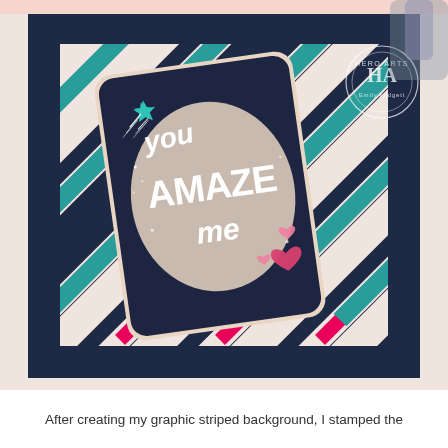[Figure (photo): A handmade greeting card featuring a dark navy blue card with the text 'you AMAZE me' in large cream/white lettering with a cloud-like background shape. A teal shooting star is in the top left corner and pink hearts are in the bottom right. The card is placed on a striped diagonal background with navy, pink, teal, cream, and white stripes, inside a navy blue frame. A Hero Arts stamp by Emily Midgett watermark is visible in the top right corner.]
After creating my graphic striped background, I stamped the